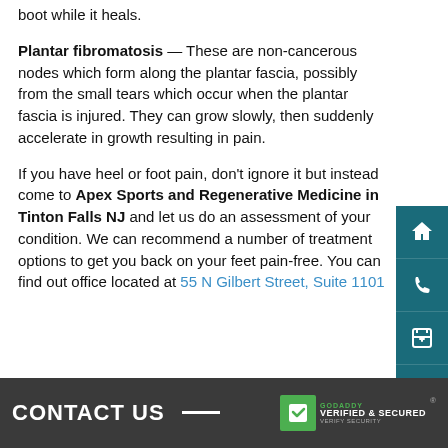boot while it heals.
Plantar fibromatosis — These are non-cancerous nodes which form along the plantar fascia, possibly from the small tears which occur when the plantar fascia is injured. They can grow slowly, then suddenly accelerate in growth resulting in pain.
If you have heel or foot pain, don't ignore it but instead come to Apex Sports and Regenerative Medicine in Tinton Falls NJ and let us do an assessment of your condition. We can recommend a number of treatment options to get you back on your feet pain-free. You can find out office located at 55 N Gilbert Street, Suite 1101
CONTACT US   GoDaddy VERIFIED & SECURED VERIFY SECURITY